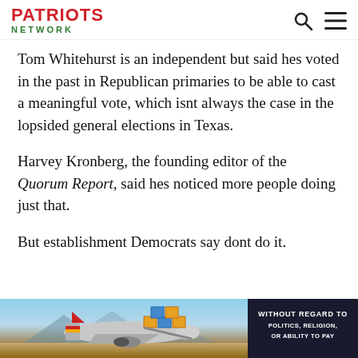PATRIOTS NETWORK
Tom Whitehurst is an independent but said hes voted in the past in Republican primaries to be able to cast a meaningful vote, which isnt always the case in the lopsided general elections in Texas.
Harvey Kronberg, the founding editor of the Quorum Report, said hes noticed more people doing just that.
But establishment Democrats say dont do it.
[Figure (photo): Advertisement banner showing an airplane being loaded with cargo at an airport, with a dark overlay on the right reading 'WITHOUT REGARD TO POLITICS, RELIGION, OR ABILITY TO PAY']